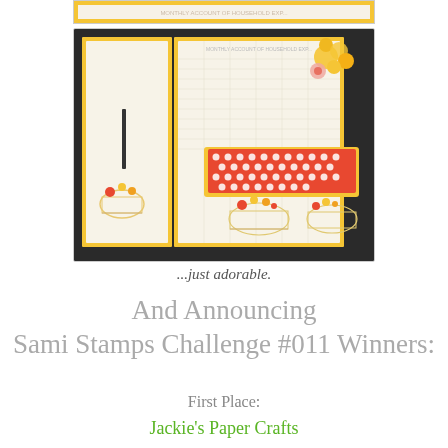[Figure (photo): A decorative craft paper organizer/accordion folder opened flat, showing grid-lined interior pages with floral basket illustrations at the bottom, a red polka-dot pocket in the center, and yellow flower embellishments in the upper right corner. The piece has a yellow/gold border and sits on a dark surface.]
...just adorable.
And Announcing
Sami Stamps Challenge #011 Winners:
First Place:
Jackie's Paper Crafts